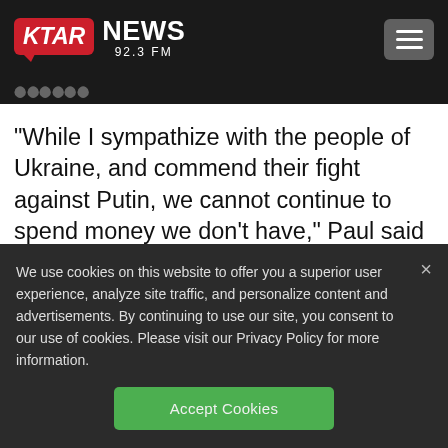[Figure (logo): KTAR News 92.3 FM logo with red rounded rectangle and hamburger menu button on dark header]
"While I sympathize with the people of Ukraine, and commend their fight against Putin, we cannot continue to spend money we don't have," Paul said in a series of
We use cookies on this website to offer you a superior user experience, analyze site traffic, and personalize content and advertisements. By continuing to use our site, you consent to our use of cookies. Please visit our Privacy Policy for more information.